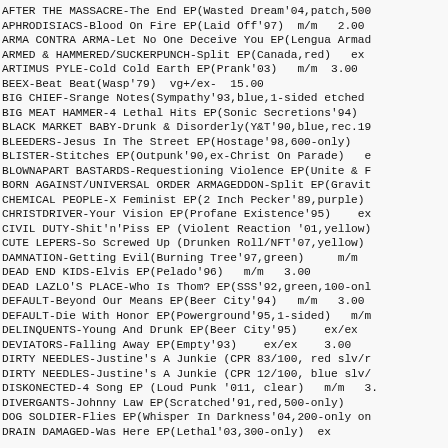AFTER THE MASSACRE-The End EP(Wasted Dream'04,patch,500
APHRODISIACS-Blood On Fire EP(Laid Off'97)  m/m   2.00
ARMA CONTRA ARMA-Let No One Deceive You EP(Lengua Armad
ARMED & HAMMERED/SUCKERPUNCH-Split EP(Canada,red)   ex
ARTIMUS PYLE-Cold Cold Earth EP(Prank'03)   m/m  3.00
BEEX-Beat Beat(Wasp'79)  vg+/ex-  15.00
BIG CHIEF-Srange Notes(Sympathy'93,blue,1-sided etched
BIG MEAT HAMMER-4 Lethal Hits EP(Sonic Secretions'94)
BLACK MARKET BABY-Drunk & Disorderly(Y&T'90,blue,rec.19
BLEEDERS-Jesus In The Street EP(Hostage'98,600-only)
BLISTER-Stitches EP(Outpunk'90,ex-Christ On Parade)   e
BLOWNAPART BASTARDS-Requestioning Violence EP(Unite & F
BORN AGAINST/UNIVERSAL ORDER ARMAGEDDON-Split EP(Gravit
CHEMICAL PEOPLE-X Feminist EP(2 Inch Pecker'89,purple)
CHRISTDRIVER-Your Vision EP(Profane Existence'95)    ex
CIVIL DUTY-Shit'n'Piss EP (Violent Reaction '01,yellow)
CUTE LEPERS-So Screwed Up (Drunken Roll/NFT'07,yellow)
DAMNATION-Getting Evil(Burning Tree'97,green)     m/m
DEAD END KIDS-Elvis EP(Pelado'96)   m/m   3.00
DEAD LAZLO'S PLACE-Who Is Thom? EP(SSS'92,green,100-onl
DEFAULT-Beyond Our Means EP(Beer City'94)   m/m   3.00
DEFAULT-Die With Honor EP(Powerground'95,1-sided)   m/m
DELINQUENTS-Young And Drunk EP(Beer City'95)    ex/ex
DEVIATORS-Falling Away EP(Empty'93)    ex/ex    3.00
DIRTY NEEDLES-Justine's A Junkie (CPR 83/100, red slv/r
DIRTY NEEDLES-Justine's A Junkie (CPR 12/100, blue slv/
DISKONECTED-4 Song EP (Loud Punk '011, clear)   m/m   3.
DIVERGANTS-Johnny Law EP(Scratched'91,red,500-only)
DOG SOLDIER-Flies EP(Whisper In Darkness'04,200-only on
DRAIN DAMAGED-Was Here EP(Lethal'03,300-only)  ex